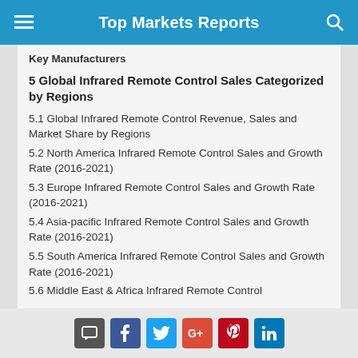Top Markets Reports
Key Manufacturers
5 Global Infrared Remote Control Sales Categorized by Regions
5.1 Global Infrared Remote Control Revenue, Sales and Market Share by Regions
5.2 North America Infrared Remote Control Sales and Growth Rate (2016-2021)
5.3 Europe Infrared Remote Control Sales and Growth Rate (2016-2021)
5.4 Asia-pacific Infrared Remote Control Sales and Growth Rate (2016-2021)
5.5 South America Infrared Remote Control Sales and Growth Rate (2016-2021)
5.6 Middle East & Africa Infrared Remote Control